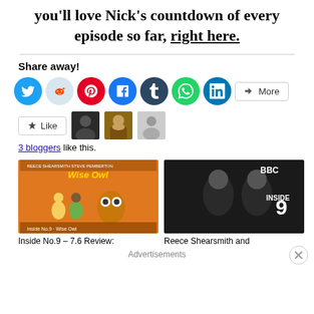you'll love Nick's countdown of every episode so far, right here.
Share away!
[Figure (infographic): Social sharing icon buttons: Twitter (blue), Reddit (light blue), Pinterest (red), Facebook (blue), Tumblr (dark blue), WhatsApp (green), LinkedIn (blue), and a More button]
[Figure (infographic): Like button with star icon, followed by three blogger avatar thumbnails]
3 bloggers like this.
[Figure (photo): Inside No.9 - Wise Owl episode poster with cartoon characters on orange background]
[Figure (photo): BBC Inside No.9 promotional image with two men in dark clothing]
Inside No.9 – 7.6 Review:
Reece Shearsmith and
Advertisements